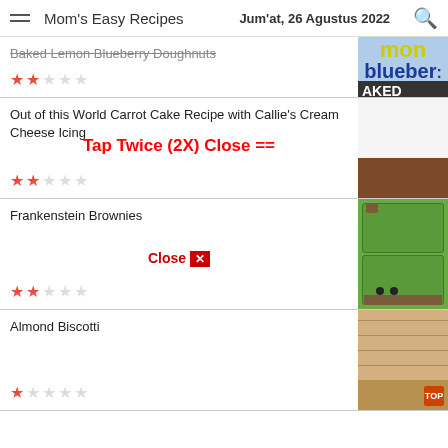Mom's Easy Recipes — Jum'at, 26 Agustus 2022
Baked Lemon Blueberry Doughnuts
★★☆☆☆
Out of this World Carrot Cake Recipe with Callie's Cream Cheese Icing
★★☆☆☆
Frankenstein Brownies
★★☆☆☆
Almond Biscotti
★☆☆☆☆